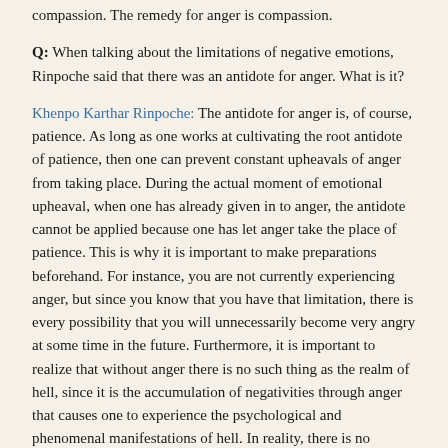compassion. The remedy for anger is compassion.
Q: When talking about the limitations of negative emotions, Rinpoche said that there was an antidote for anger. What is it?
Khenpo Karthar Rinpoche: The antidote for anger is, of course, patience. As long as one works at cultivating the root antidote of patience, then one can prevent constant upheavals of anger from taking place. During the actual moment of emotional upheaval, when one has already given in to anger, the antidote cannot be applied because one has let anger take the place of patience. This is why it is important to make preparations beforehand. For instance, you are not currently experiencing anger, but since you know that you have that limitation, there is every possibility that you will unnecessarily become very angry at some time in the future. Furthermore, it is important to realize that without anger there is no such thing as the realm of hell, since it is the accumulation of negativities through anger that causes one to experience the psychological and phenomenal manifestations of hell. In reality, there is no mandatory hell, it is only because of anger that people experience such sufferings. As you can see, you really can't afford to get angry.